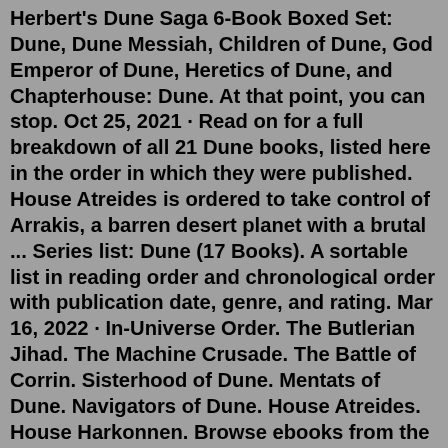Herbert's Dune Saga 6-Book Boxed Set: Dune, Dune Messiah, Children of Dune, God Emperor of Dune, Heretics of Dune, and Chapterhouse: Dune. At that point, you can stop. Oct 25, 2021 · Read on for a full breakdown of all 21 Dune books, listed here in the order in which they were published. House Atreides is ordered to take control of Arrakis, a barren desert planet with a brutal ... Series list: Dune (17 Books). A sortable list in reading order and chronological order with publication date, genre, and rating. Mar 16, 2022 · In-Universe Order. The Butlerian Jihad. The Machine Crusade. The Battle of Corrin. Sisterhood of Dune. Mentats of Dune. Navigators of Dune. House Atreides. House Harkonnen. Browse ebooks from the dune series to read online or download in epub or PDF format. Sort by New Arrivals Sort by Series Number Sort by Popularity Sort by Title Sort by Author.Jun 29, 2021 · Classic Dune or The Original Dune series in order (by Frank Herbert) Also called The Dune Chronicles, the Classic Dune refers to the original six Dune novels written by Frank Herbert.